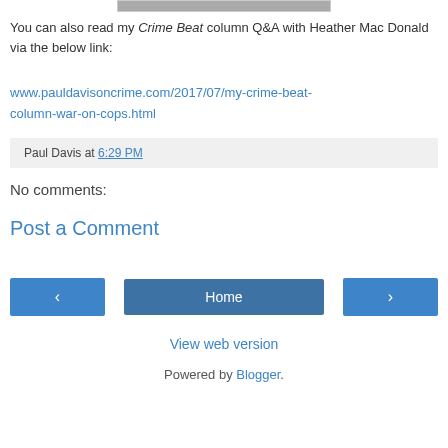[Figure (photo): Partial image at top of page, appears to be a person]
You can also read my Crime Beat column Q&A with Heather Mac Donald via the below link:
www.pauldavisoncrime.com/2017/07/my-crime-beat-column-war-on-cops.html
Paul Davis at 6:29 PM
No comments:
Post a Comment
Home
View web version
Powered by Blogger.